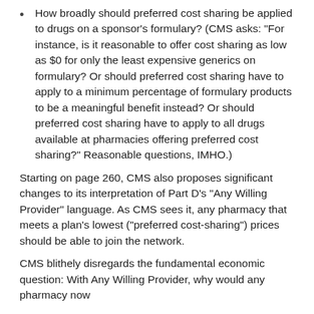How broadly should preferred cost sharing be applied to drugs on a sponsor's formulary? (CMS asks: “For instance, is it reasonable to offer cost sharing as low as $0 for only the least expensive generics on formulary? Or should preferred cost sharing have to apply to a minimum percentage of formulary products to be a meaningful benefit instead? Or should preferred cost sharing have to apply to all drugs available at pharmacies offering preferred cost sharing?” Reasonable questions, IMHO.)
Starting on page 260, CMS also proposes significant changes to its interpretation of Part D’s “Any Willing Provider” language. As CMS sees it, any pharmacy that meets a plan’s lowest (“preferred cost-sharing”) prices should be able to join the network.
CMS blithely disregards the fundamental economic question: With Any Willing Provider, why would any pharmacy now